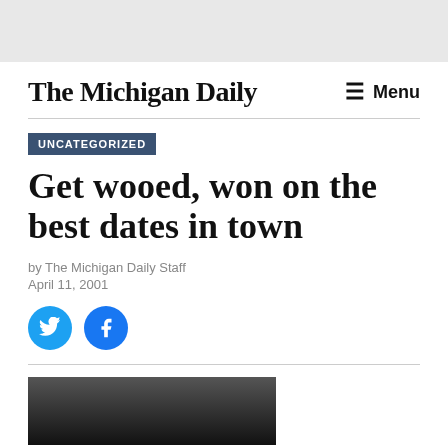The Michigan Daily — Menu
UNCATEGORIZED
Get wooed, won on the best dates in town
by The Michigan Daily Staff
April 11, 2001
[Figure (photo): Black and white photo of people, partially visible at bottom of page]